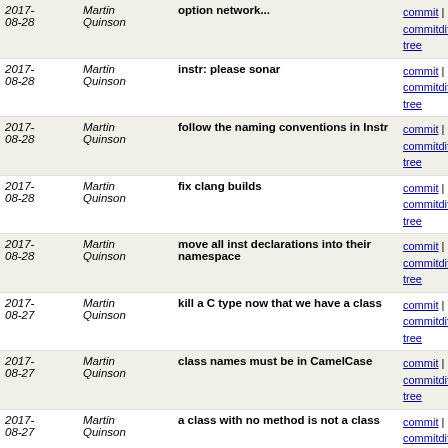| Date | Author | Message | Links |
| --- | --- | --- | --- |
| 2017-08-28 | Martin Quinson | option network... | commit | commitdiff | tree |
| 2017-08-28 | Martin Quinson | instr: please sonar | commit | commitdiff | tree |
| 2017-08-28 | Martin Quinson | follow the naming conventions in Instr | commit | commitdiff | tree |
| 2017-08-28 | Martin Quinson | fix clang builds | commit | commitdiff | tree |
| 2017-08-28 | Martin Quinson | move all inst declarations into their namespace | commit | commitdiff | tree |
| 2017-08-27 | Martin Quinson | kill a C type now that we have a class | commit | commitdiff | tree |
| 2017-08-27 | Martin Quinson | class names must be in CamelCase | commit | commitdiff | tree |
| 2017-08-27 | Martin Quinson | a class with no method is not a class | commit | commitdiff | tree |
| 2017-08-27 | Martin Quinson | Merge branch 'master' of github.com:simgrid/simgrid | commit | commitdiff | tree |
| 2017-08-27 | Martin Quinson | Merge branch 'master' of scm.gforge.inria.fr:/gitroot... | commit | commitdiff | tree |
| 2017-08-27 | Martin Quinson | Merge pull request #215 from Takishipp/s_type_cleanup | commit | commitdiff | tree |
| 2017-08-13 | Martin Quinson | small cleanups in the simix timers | commit | commitdiff | tree |
| 2017-08-12 | Martin Quinson | sonar | commit | commitdiff | tree |
| 2017- | Martin | spelling | commit | commitdiff |